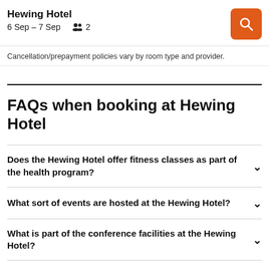Hewing Hotel
6 Sep – 7 Sep   2
Cancellation/prepayment policies vary by room type and provider.
FAQs when booking at Hewing Hotel
Does the Hewing Hotel offer fitness classes as part of the health program?
What sort of events are hosted at the Hewing Hotel?
What is part of the conference facilities at the Hewing Hotel?
Do extra charges apply if I bring my dog to the